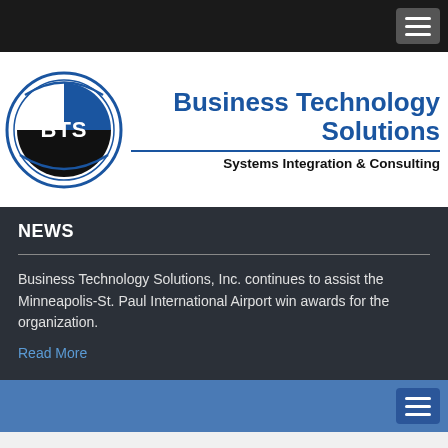[Figure (logo): Business Technology Solutions (BTS) logo with circular BTS emblem and company name text]
NEWS
Business Technology Solutions, Inc. continues to assist the Minneapolis-St. Paul International Airport win awards for the organization.
Read More
BTS HELPS MAC WIN ANOTHER